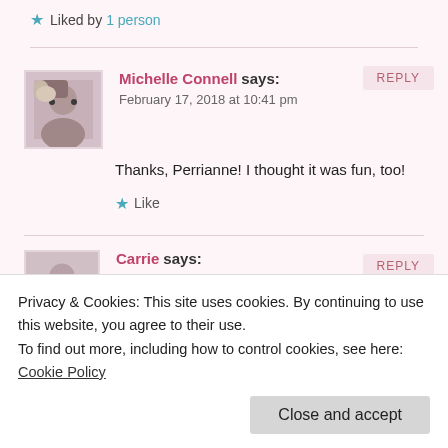★ Liked by 1 person
Michelle Connell says:
February 17, 2018 at 10:41 pm
Thanks, Perrianne! I thought it was fun, too!
★ Like
Carrie says:
Privacy & Cookies: This site uses cookies. By continuing to use this website, you agree to their use.
To find out more, including how to control cookies, see here: Cookie Policy
Close and accept